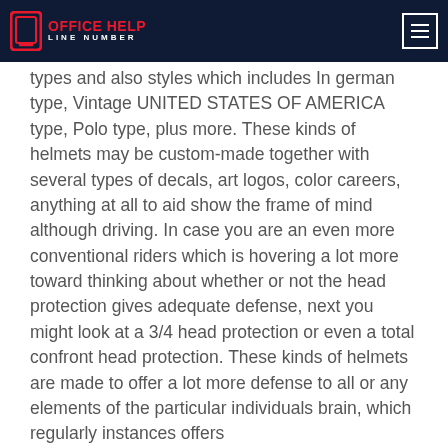OFFICE HELP LINE NUMBER
types and also styles which includes In german type, Vintage UNITED STATES OF AMERICA type, Polo type, plus more. These kinds of helmets may be custom-made together with several types of decals, art logos, color careers, anything at all to aid show the frame of mind although driving. In case you are an even more conventional riders which is hovering a lot more toward thinking about whether or not the head protection gives adequate defense, next you might look at a 3/4 head protection or even a total confront head protection. These kinds of helmets are made to offer a lot more defense to all or any elements of the particular individuals brain, which regularly instances offers